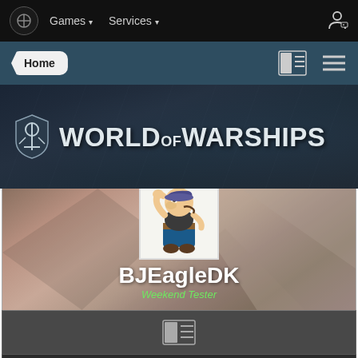Games v  Services v
Home
[Figure (logo): World of Warships logo with anchor shield emblem]
[Figure (photo): Profile card with Popeye avatar image for user BJEagleDK]
BJEagleDK
Weekend Tester
[Figure (other): Stats/content icon bar]
CONTENT COUNT
93